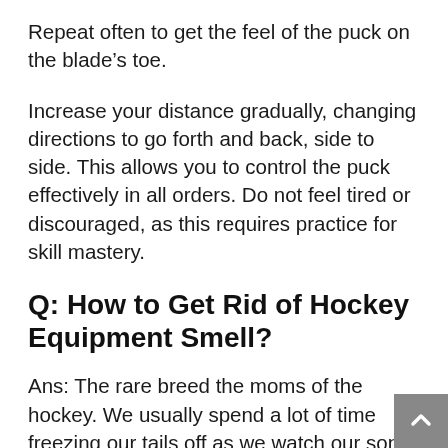Repeat often to get the feel of the puck on the blade's toe.
Increase your distance gradually, changing directions to go forth and back, side to side. This allows you to control the puck effectively in all orders. Do not feel tired or discouraged, as this requires practice for skill mastery.
Q: How to Get Rid of Hockey Equipment Smell?
Ans: The rare breed the moms of the hockey. We usually spend a lot of time freezing our tails off as we watch our sons whack a stick with a puck. We also wake up early and drive